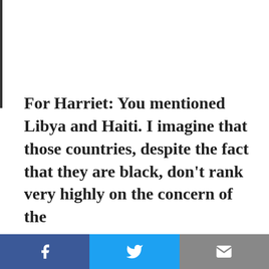For Harriet: You mentioned Libya and Haiti. I imagine that those countries, despite the fact that they are black, don't rank very highly on the concern of the
[Figure (other): Social sharing bar with Facebook (blue), Twitter (light blue), and email (gray) buttons, each with white icons]